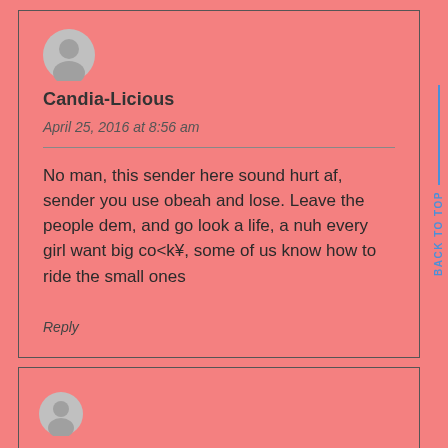[Figure (illustration): Gray user avatar icon (silhouette of a person) for commenter Candia-Licious]
Candia-Licious
April 25, 2016 at 8:56 am
No man, this sender here sound hurt af, sender you use obeah and lose. Leave the people dem, and go look a life, a nuh every girl want big co<k¥, some of us know how to ride the small ones
Reply
[Figure (illustration): Gray user avatar icon (silhouette of a person) for second commenter, partially visible at bottom]